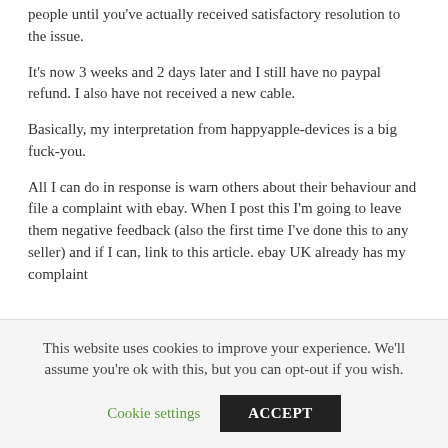people until you've actually received satisfactory resolution to the issue.
It's now 3 weeks and 2 days later and I still have no paypal refund. I also have not received a new cable.
Basically, my interpretation from happyapple-devices is a big fuck-you.
All I can do in response is warn others about their behaviour and file a complaint with ebay. When I post this I'm going to leave them negative feedback (also the first time I've done this to any seller) and if I can, link to this article. ebay UK already has my complaint
This website uses cookies to improve your experience. We'll assume you're ok with this, but you can opt-out if you wish.
Cookie settings    ACCEPT